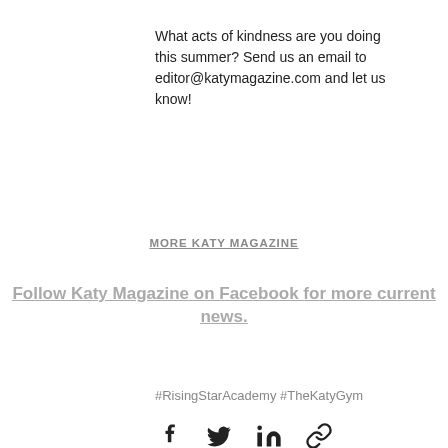What acts of kindness are you doing this summer? Send us an email to editor@katymagazine.com and let us know!
MORE KATY MAGAZINE
Follow Katy Magazine on Facebook for more current news.
#RisingStarAcademy #TheKatyGym
[Figure (other): Social share icons: Facebook, Twitter, LinkedIn, and link/copy icon]
[Figure (other): Pagination dots: two circles, one filled dark and one filled gray]